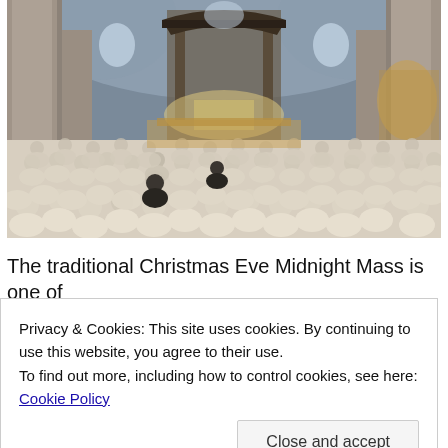[Figure (photo): Interior of St. Peter's Basilica during Christmas Eve Midnight Mass. Rows of clergy in white robes seen from behind, facing an ornate altar with Bernini's baldachin. Wide-angle view showing baroque architecture, high vaulted ceilings, columns, and mosaics.]
The traditional Christmas Eve Midnight Mass is one of
Privacy & Cookies: This site uses cookies. By continuing to use this website, you agree to their use.
To find out more, including how to control cookies, see here: Cookie Policy
Close and accept
CHRISTMAS: THE HISTORY AND SIGNIFICANCE OF HOLY MASS